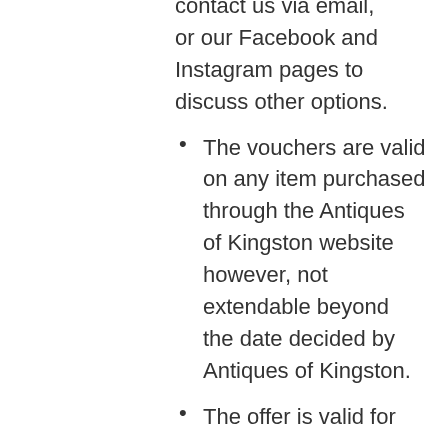contact us via email, or our Facebook and Instagram pages to discuss other options.
The vouchers are valid on any item purchased through the Antiques of Kingston website however, not extendable beyond the date decided by Antiques of Kingston.
The offer is valid for